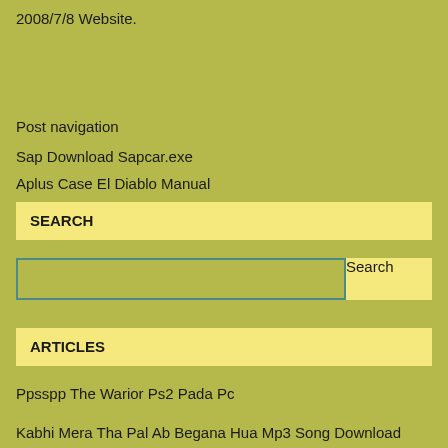2008/7/8 Website.
Post navigation
Sap Download Sapcar.exe
Aplus Case El Diablo Manual
SEARCH
Search
ARTICLES
Ppsspp The Warior Ps2 Pada Pc
Kabhi Mera Tha Pal Ab Begana Hua Mp3 Song Download